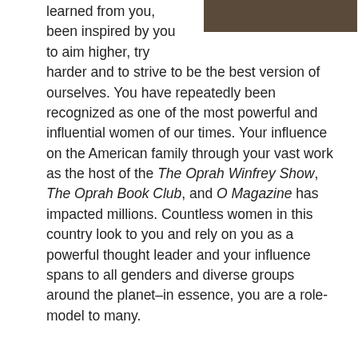[Figure (photo): Dark brown/sepia toned photo in upper right corner, partially visible]
learned from you, been inspired by you to aim higher, try harder and to strive to be the best version of ourselves. You have repeatedly been recognized as one of the most powerful and influential women of our times. Your influence on the American family through your vast work as the host of the The Oprah Winfrey Show, The Oprah Book Club, and O Magazine has impacted millions. Countless women in this country look to you and rely on you as a powerful thought leader and your influence spans to all genders and diverse groups around the planet–in essence, you are a role-model to many.
Therefore, we are confused and deeply saddened to see that your highly-regarded magazine, O Magazine, is running an advertisement for Monsanto, a company